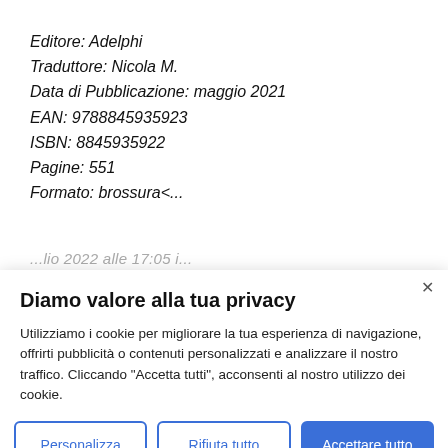Editore: Adelphi
Traduttore: Nicola M.
Data di Pubblicazione: maggio 2021
EAN: 9788845935923
ISBN: 8845935922
Pagine: 551
Formato: brossura<...
...lio 2022 alle 17:05 i...
Diamo valore alla tua privacy
Utilizziamo i cookie per migliorare la tua esperienza di navigazione, offrirti pubblicità o contenuti personalizzati e analizzare il nostro traffico. Cliccando "Accetta tutti", acconsenti al nostro utilizzo dei cookie.
Personalizza
Rifiuta tutto
Accettare tutto